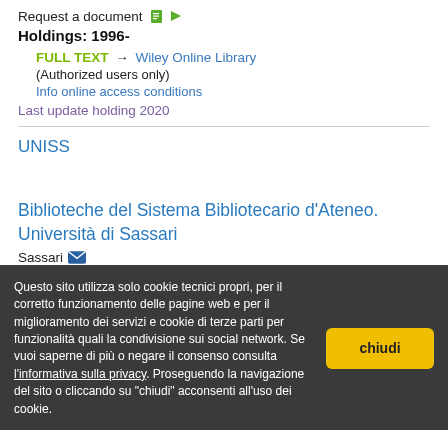Request a document
Holdings: 1996-
FULL TEXT → Wiley Online Library
(Authorized users only)
Info online access conditions
Last update holding 2020
UNISS
Biblioteche del Sistema Bibliotecario d'Ateneo. Università di Sassari
Sassari
Request a document
Le richieste di Document Delivery vanno indirizzate alle biblioteche di area disciplinare pertinente. Le richieste inviate a aree non pertinenti non saranno evase
Questo sito utilizza solo cookie tecnici propri, per il corretto funzionamento delle pagine web e per il miglioramento dei servizi e cookie di terze parti per funzionalità quali la condivisione sui social network. Se vuoi saperne di più o negare il consenso consulta l'informativa sulla privacy. Proseguendo la navigazione del sito o cliccando su "chiudi" acconsenti all'uso dei cookie.
Note s: Disponibile dal 1997, volume 10, fascicolo 1